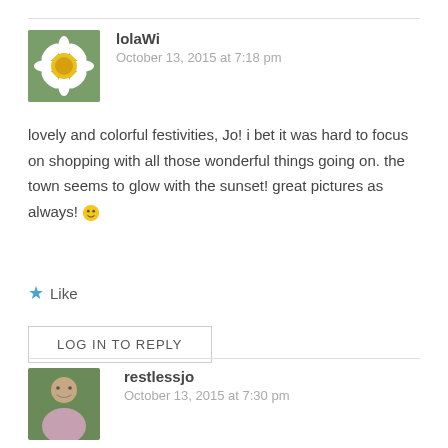[Figure (photo): Avatar of lolaWi: daisy flower photo on green background]
lolaWi
October 13, 2015 at 7:18 pm
lovely and colorful festivities, Jo! i bet it was hard to focus on shopping with all those wonderful things going on. the town seems to glow with the sunset! great pictures as always! 🙂
★ Like
LOG IN TO REPLY
[Figure (photo): Avatar of restlessjo: woman in floral top outdoors]
restlessjo
October 13, 2015 at 7:30 pm
I'm not much of a shopper, LolaWi, but I do like a colourful market stall. And yes, it was a lovely place to watch the sunset. Thank you! 🙂